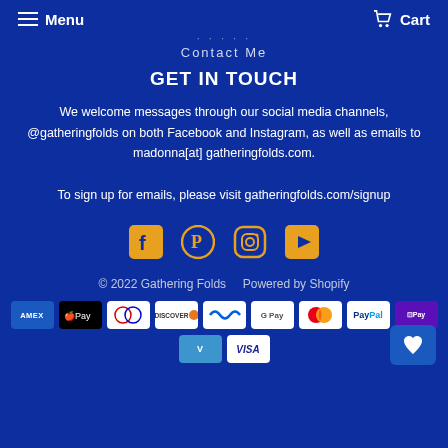Menu  Cart
About
Contact Me
GET IN TOUCH
We welcome messages through our social media channels, @gatheringfolds on both Facebook and Instagram, as well as emails to madonna[at] gatheringfolds.com.

To sign up for emails, please visit gatheringfolds.com/signup
[Figure (infographic): Social media icons: Facebook, Pinterest, Instagram, YouTube in gold/orange color]
© 2022 Gathering Folds    Powered by Shopify
[Figure (infographic): Payment method icons: Amex, Apple Pay, Diners Club, Discover, Meta Pay, Google Pay, Mastercard, PayPal, Shop Pay, Venmo, Visa]